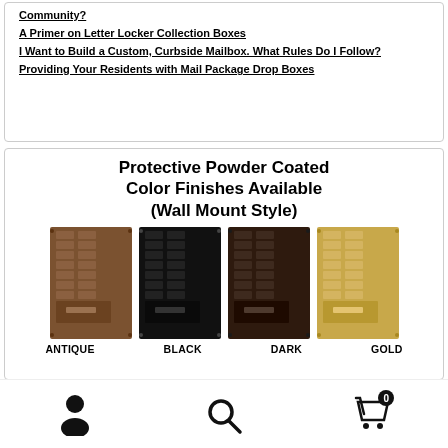Community?
A Primer on Letter Locker Collection Boxes
I Want to Build a Custom, Curbside Mailbox. What Rules Do I Follow?
Providing Your Residents with Mail Package Drop Boxes
Protective Powder Coated Color Finishes Available (Wall Mount Style)
[Figure (photo): Four wall-mount mailbox units in different powder coated color finishes: Antique (brown), Black, Dark (dark brown), and Gold]
ANTIQUE   BLACK   DARK   GOLD
Navigation footer with user icon, search icon, and cart icon (0 items)